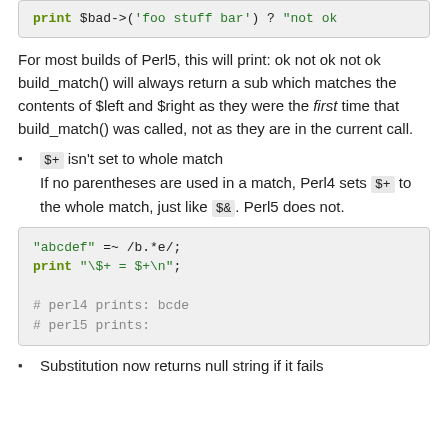[Figure (screenshot): Code block showing: print $bad->('foo stuff bar') ? "not ok]
For most builds of Perl5, this will print: ok not ok not ok
build_match() will always return a sub which matches the contents of $left and $right as they were the first time that build_match() was called, not as they are in the current call.
$+ isn't set to whole match
If no parentheses are used in a match, Perl4 sets $+ to the whole match, just like $&. Perl5 does not.
[Figure (screenshot): Code block showing: "abcdef" =~ /b.*e/; print "\$+ = $+\n"; # perl4 prints: bcde # perl5 prints:]
Substitution now returns null string if it fails